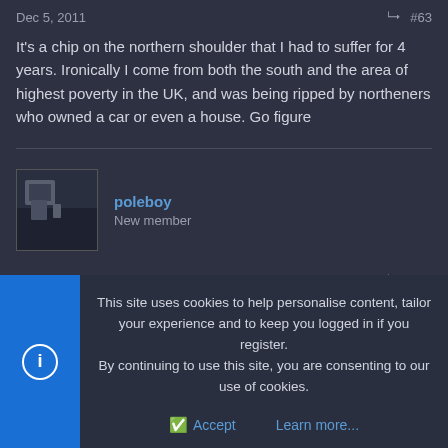Dec 5, 2011  #63
It's a chip on the northern shoulder that I had to suffer for 4 years. Ironically I come from both the south and the area of highest poverty in the UK, and was being ripped by northeners who owned a car or even a house. Go figure
[Figure (photo): User avatar thumbnail for poleboy - small dark photo]
poleboy
New member
Dec 5, 2011  #64
Palademon said:
This site uses cookies to help personalise content, tailor your experience and to keep you logged in if you register.
By continuing to use this site, you are consenting to our use of cookies.
Accept  Learn more...